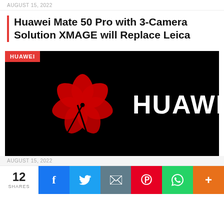AUGUST 15, 2022
Huawei Mate 50 Pro with 3-Camera Solution XMAGE will Replace Leica
[Figure (photo): Huawei logo on black background — red flower/petal logo on left, bold white HUAWEI text on right. Red badge top-left reads HUAWEI.]
AUGUST 15, 2022
12 SHARES
f
Twitter share
Email share
Pinterest share
WhatsApp share
+